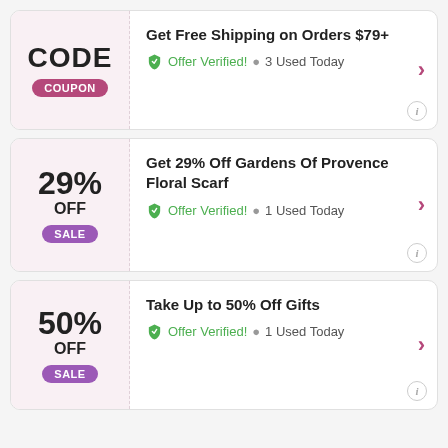CODE / COUPON — Get Free Shipping on Orders $79+ — Coupon Verified! • 3 Used Today
29% OFF / SALE — Get 29% Off Gardens Of Provence Floral Scarf — Offer Verified! • 1 Used Today
50% OFF / SALE — Take Up to 50% Off Gifts — Offer Verified! • 1 Used Today